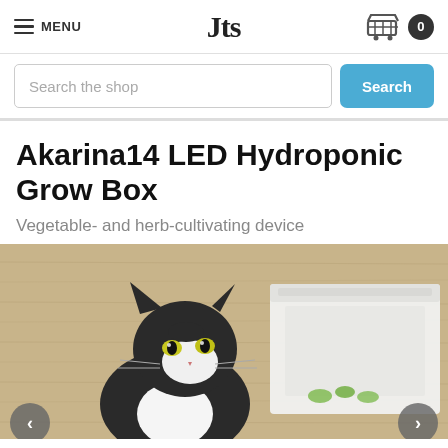MENU | Jts | 0
Search the shop
Akarina14 LED Hydroponic Grow Box
Vegetable- and herb-cultivating device
[Figure (photo): A black and white cat sitting next to a white hydroponic grow box unit against a wood-textured beige background. Navigation arrows visible at bottom corners.]